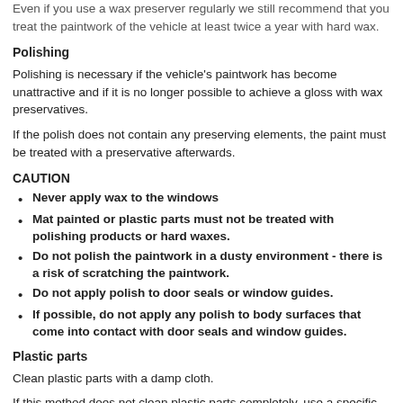Even if you use a wax preserver regularly we still recommend that you treat the paintwork of the vehicle at least twice a year with hard wax.
Polishing
Polishing is necessary if the vehicle's paintwork has become unattractive and if it is no longer possible to achieve a gloss with wax preservatives.
If the polish does not contain any preserving elements, the paint must be treated with a preservative afterwards.
CAUTION
Never apply wax to the windows
Mat painted or plastic parts must not be treated with polishing products or hard waxes.
Do not polish the paintwork in a dusty environment - there is a risk of scratching the paintwork.
Do not apply polish to door seals or window guides.
If possible, do not apply any polish to body surfaces that come into contact with door seals and window guides.
Plastic parts
Clean plastic parts with a damp cloth.
If this method does not clean plastic parts completely, use a specific plastic care product.